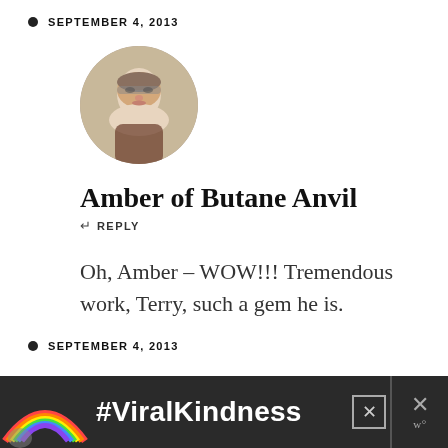SEPTEMBER 4, 2013
[Figure (photo): Circular avatar photo of a person wearing glasses and a patterned scarf]
Amber of Butane Anvil
↵ REPLY
Oh, Amber – WOW!!! Tremendous work, Terry, such a gem he is.
SEPTEMBER 4, 2013
[Figure (infographic): Advertisement banner with rainbow graphic and #ViralKindness text on dark background]